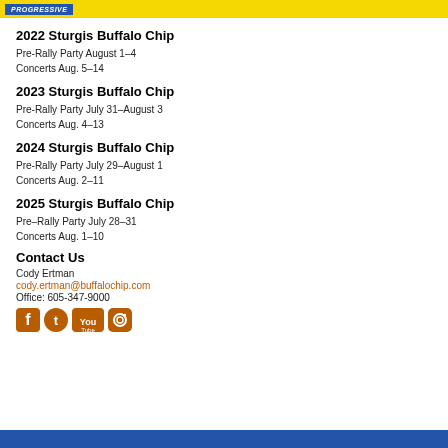PROGRESSIVE
2022 Sturgis Buffalo Chip
Pre-Rally Party August 1–4
Concerts Aug. 5–14
2023 Sturgis Buffalo Chip
Pre-Rally Party July 31–August 3
Concerts Aug. 4–13
2024 Sturgis Buffalo Chip
Pre-Rally Party July 29–August 1
Concerts Aug. 2–11
2025 Sturgis Buffalo Chip
Pre–Rally Party July 28–31
Concerts Aug. 1–10
Contact Us
Cody Ertman
cody.ertman@buffalochip.com
Office: 605-347-9000
[Figure (illustration): Social media icons: Facebook, Twitter, YouTube, Instagram in orange/brown color]